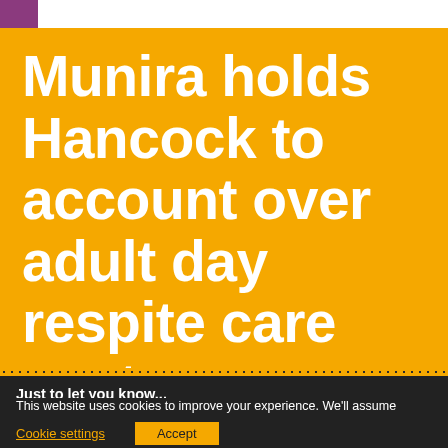Munira holds Hancock to account over adult day respite care centres
Just to let you know...
This website uses cookies to improve your experience. We'll assume you're ok with this, but you can opt-out if you wish.
Cookie settings   Accept